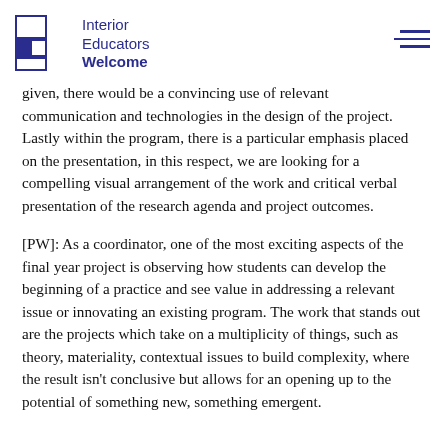Interior Educators Welcome
given, there would be a convincing use of relevant communication and technologies in the design of the project. Lastly within the program, there is a particular emphasis placed on the presentation, in this respect, we are looking for a compelling visual arrangement of the work and critical verbal presentation of the research agenda and project outcomes.
[PW]: As a coordinator, one of the most exciting aspects of the final year project is observing how students can develop the beginning of a practice and see value in addressing a relevant issue or innovating an existing program. The work that stands out are the projects which take on a multiplicity of things, such as theory, materiality, contextual issues to build complexity, where the result isn't conclusive but allows for an opening up to the potential of something new, something emergent.